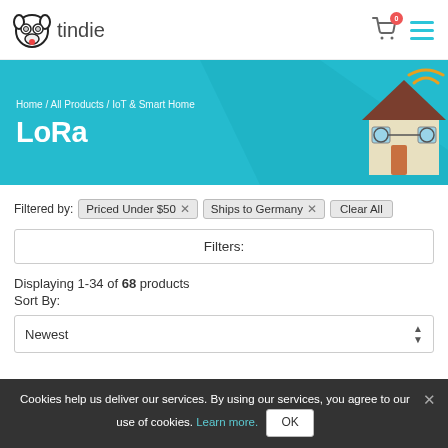[Figure (logo): Tindie dog logo with text 'tindie']
Home / All Products / IoT & Smart Home
LoRa
Filtered by: Priced Under $50 ×  Ships to Germany ×  Clear All
Filters:
Displaying 1-34 of 68 products
Sort By:
Newest
Cookies help us deliver our services. By using our services, you agree to our use of cookies. Learn more. OK